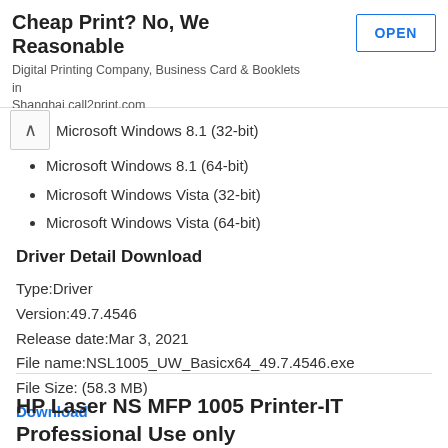[Figure (other): Advertisement banner: 'Cheap Print? No, We Reasonable' with subtitle 'Digital Printing Company, Business Card & Booklets in Shanghai call2print.com' and an OPEN button]
Microsoft Windows 8.1 (32-bit)
Microsoft Windows 8.1 (64-bit)
Microsoft Windows Vista (32-bit)
Microsoft Windows Vista (64-bit)
Driver Detail Download
Type:Driver
Version:49.7.4546
Release date:Mar 3, 2021
File name:NSL1005_UW_Basicx64_49.7.4546.exe
File Size: (58.3 MB)
Download
HP Laser NS MFP 1005 Printer-IT Professional Use only